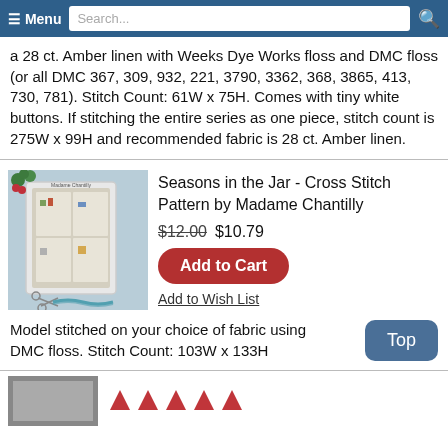≡ Menu  Search...
a 28 ct. Amber linen with Weeks Dye Works floss and DMC floss (or all DMC 367, 309, 932, 221, 3790, 3362, 368, 3865, 413, 730, 781). Stitch Count: 61W x 75H. Comes with tiny white buttons. If stitching the entire series as one piece, stitch count is 275W x 99H and recommended fabric is 28 ct. Amber linen.
[Figure (photo): Cross stitch pattern product photo showing framed needlework with seasonal designs, holly decoration on top, and scissors tied with ribbon at bottom, on a blue fabric background]
Seasons in the Jar - Cross Stitch Pattern by Madame Chantilly
$12.00 $10.79
Add to Cart
Add to Wish List
Model stitched on your choice of fabric using DMC floss. Stitch Count: 103W x 133H
[Figure (photo): Partial product thumbnail image at bottom left]
[Figure (other): Red triangle arrow icons (rating or navigation arrows)]